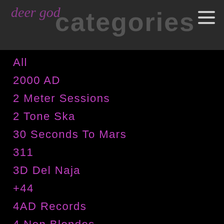deer god categories
All
2000 AD
2 Meter Sessions
2 Tone Ska
30 Seconds To Mars
311
3D Del Naja
+44
4AD Records
4 Non Blondes
7 Days Of Funk
7 Year Bitch
88.5FM
8 Marks
9/11